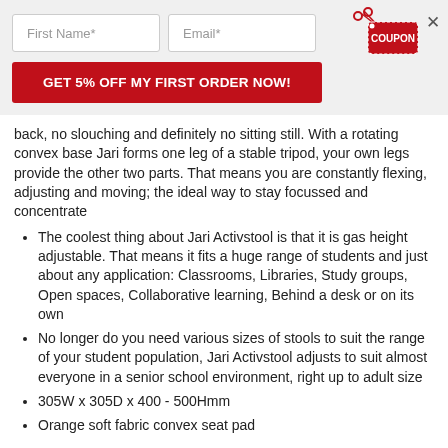[Figure (infographic): Email signup popup banner with First Name and Email input fields, a red coupon badge icon, a close X button, and a red CTA button reading 'GET 5% OFF MY FIRST ORDER NOW!']
back, no slouching and definitely no sitting still. With a rotating convex base Jari forms one leg of a stable tripod, your own legs provide the other two parts. That means you are constantly flexing, adjusting and moving; the ideal way to stay focussed and concentrate
The coolest thing about Jari Activstool is that it is gas height adjustable. That means it fits a huge range of students and just about any application: Classrooms, Libraries, Study groups, Open spaces, Collaborative learning, Behind a desk or on its own
No longer do you need various sizes of stools to suit the range of your student population, Jari Activstool adjusts to suit almost everyone in a senior school environment, right up to adult size
305W x 305D x 400 - 500Hmm
Orange soft fabric convex seat pad